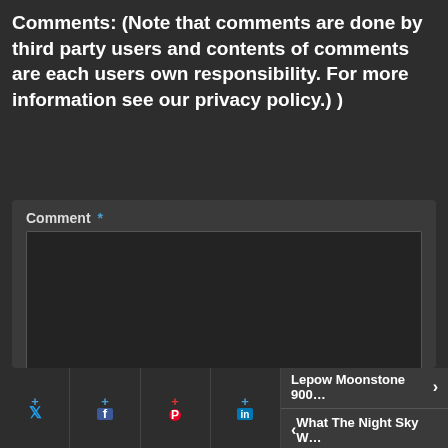Comments: (Note that comments are done by third party users and contents of comments are each users own responsibility. For more information see our privacy policy.) )
[Figure (screenshot): Web comment form with fields for Comment (textarea), Name, Email, and Website on a dark background]
[Figure (screenshot): Social sharing buttons for Twitter, Facebook, Pinterest, LinkedIn with + icons, and navigation links to 'Lepow Moonstone 900...' and 'What The Night Sky W...']